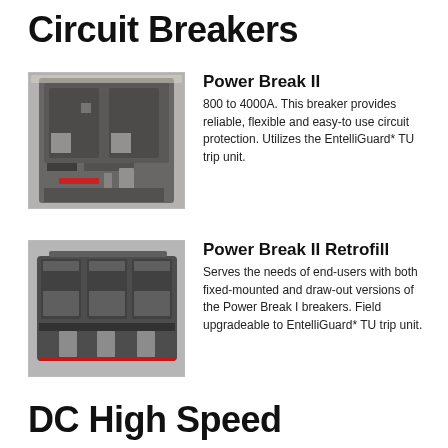Circuit Breakers
[Figure (photo): Photo of a Power Break II circuit breaker, a large black industrial electrical breaker unit mounted in a panel enclosure.]
Power Break II
800 to 4000A. This breaker provides reliable, flexible and easy-to use circuit protection. Utilizes the EntelliGuard* TU trip unit.
[Figure (photo): Photo of a Power Break II Retrofill circuit breaker, a dark grey three-pole industrial molded case breaker.]
Power Break II Retrofill
Serves the needs of end-users with both fixed-mounted and draw-out versions of the Power Break I breakers. Field upgradeable to EntelliGuard* TU trip unit.
DC High Speed